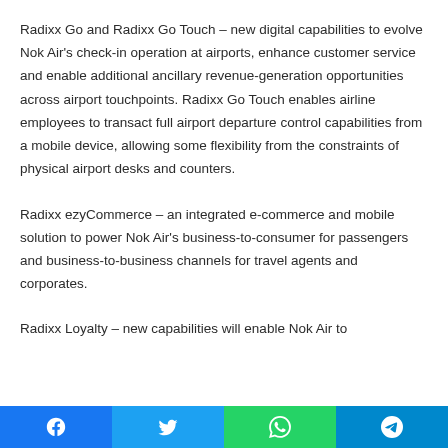Radixx Go and Radixx Go Touch – new digital capabilities to evolve Nok Air's check-in operation at airports, enhance customer service and enable additional ancillary revenue-generation opportunities across airport touchpoints. Radixx Go Touch enables airline employees to transact full airport departure control capabilities from a mobile device, allowing some flexibility from the constraints of physical airport desks and counters.
Radixx ezyCommerce – an integrated e-commerce and mobile solution to power Nok Air's business-to-consumer for passengers and business-to-business channels for travel agents and corporates.
Radixx Loyalty – new capabilities will enable Nok Air to